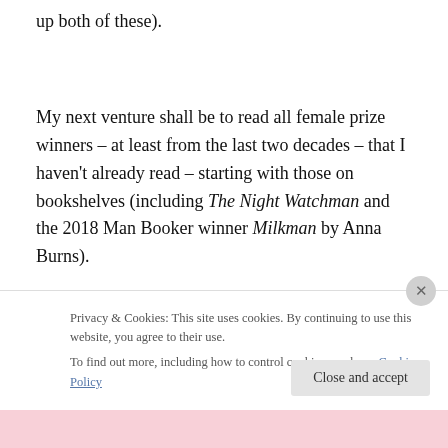up both of these).
My next venture shall be to read all female prize winners – at least from the last two decades – that I haven't already read – starting with those on bookshelves (including The Night Watchman and the 2018 Man Booker winner Milkman by Anna Burns).
Privacy & Cookies: This site uses cookies. By continuing to use this website, you agree to their use.
To find out more, including how to control cookies, see here: Cookie Policy
Close and accept